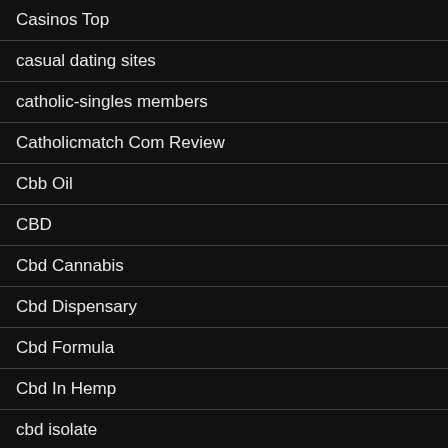Casinos Top
casual dating sites
catholic-singles members
Catholicmatch Com Review
Cbb Oil
CBD
Cbd Cannabis
Cbd Dispensary
Cbd Formula
Cbd In Hemp
cbd isolate
Cbd Oik
cbd oil